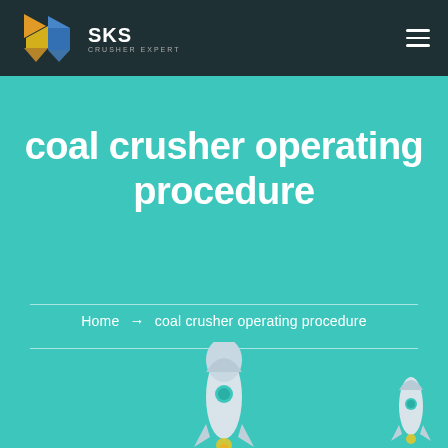[Figure (logo): SKS Crusher Expert logo with colorful geometric icon on dark teal header bar with hamburger menu icon on the right]
coal crusher operating procedure
Home → coal crusher operating procedure
[Figure (illustration): Two rocket ship illustrations at the bottom of the teal section — a larger one center-bottom and a smaller one at bottom-right]